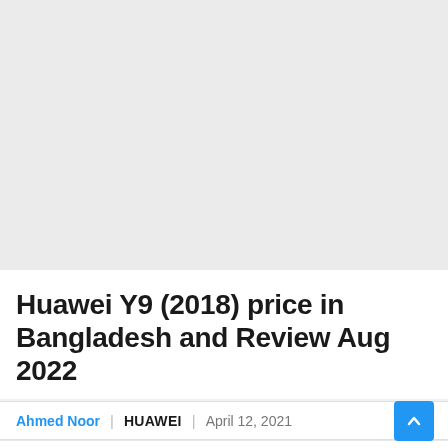[Figure (other): Advertisement or image placeholder area, light gray background]
Huawei Y9 (2018) price in Bangladesh and Review Aug 2022
Ahmed Noor | HUAWEI | April 12, 2021
HOME | HUAWEI | Huawei Y9 (2018) price in Bangladesh and Review